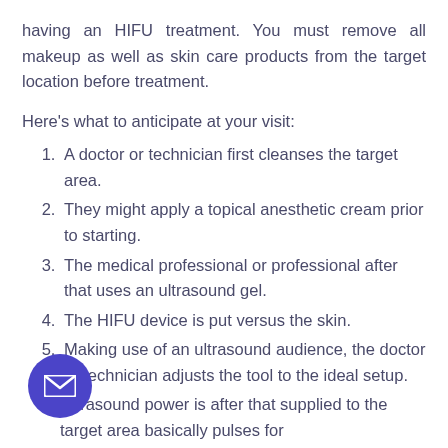having an HIFU treatment. You must remove all makeup as well as skin care products from the target location before treatment.
Here's what to anticipate at your visit:
1. A doctor or technician first cleanses the target area.
2. They might apply a topical anesthetic cream prior to starting.
3. The medical professional or professional after that uses an ultrasound gel.
4. The HIFU device is put versus the skin.
5. Making use of an ultrasound audience, the doctor or technician adjusts the tool to the ideal setup.
Ultrasound power is after that supplied to the target area basically pulses for